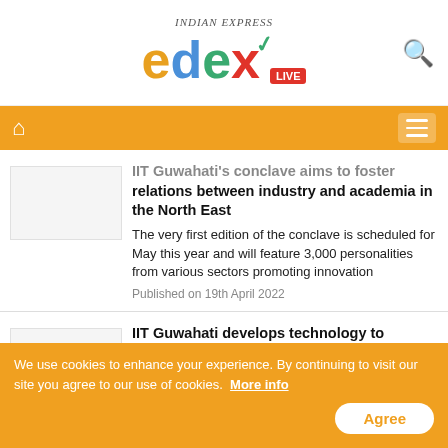[Figure (logo): Edex Live logo by Indian Express - colorful letters e, d, e, x with LIVE badge]
IIT Guwahati's conclave aims to foster relations between industry and academia in the North East
The very first edition of the conclave is scheduled for May this year and will feature 3,000 personalities from various sectors promoting innovation
Published on 19th April 2022
IIT Guwahati develops technology to standardise electric vehicles for Indian conditions
The electric vehicles currently available in
We use cookies to enhance your experience. By continuing to visit our site you agree to our use of cookies.  More info